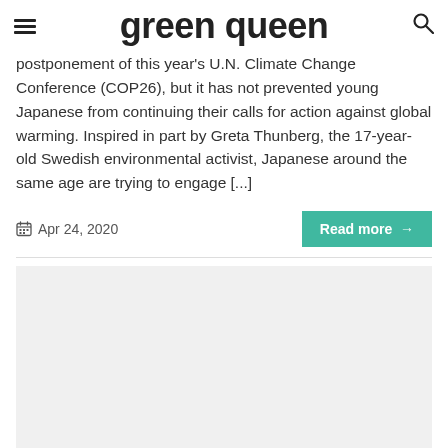green queen
postponement of this year's U.N. Climate Change Conference (COP26), but it has not prevented young Japanese from continuing their calls for action against global warming. Inspired in part by Greta Thunberg, the 17-year-old Swedish environmental activist, Japanese around the same age are trying to engage [...]
Apr 24, 2020
[Figure (photo): Image placeholder / article thumbnail, light gray background]